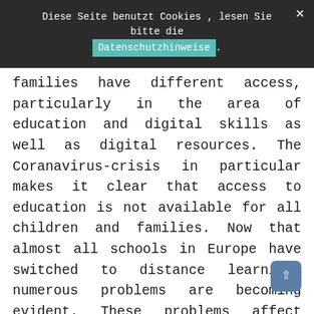Diese Seite benutzt Cookies , lesen Sie bitte die Datenschutzhinweise.
families have different access, particularly in the area of education and digital skills as well as digital resources. The Coranavirus-crisis in particular makes it clear that access to education is not available for all children and families. Now that almost all schools in Europe have switched to distance learning, numerous problems are becoming evident. These problems affect families across Europe to a similar extent. We asked ourselves whether this is the case everywhere in the European Union, whether families (parents and children) from Austrian, Italian and other EU - countries have